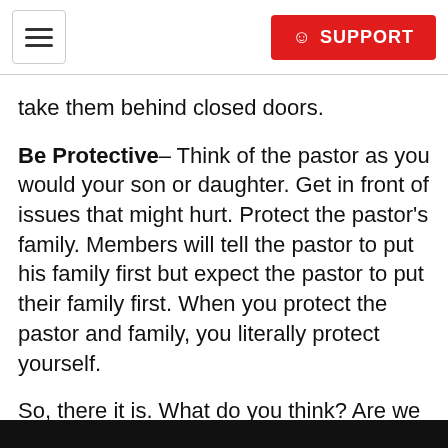SUPPORT
take them behind closed doors.
Be Protective– Think of the pastor as you would your son or daughter. Get in front of issues that might hurt. Protect the pastor's family. Members will tell the pastor to put his family first but expect the pastor to put their family first. When you protect the pastor and family, you literally protect yourself.
So, there it is. What do you think? Are we supporting our young pastors enough? What can we do? How do you deal with the ones who won't listen?